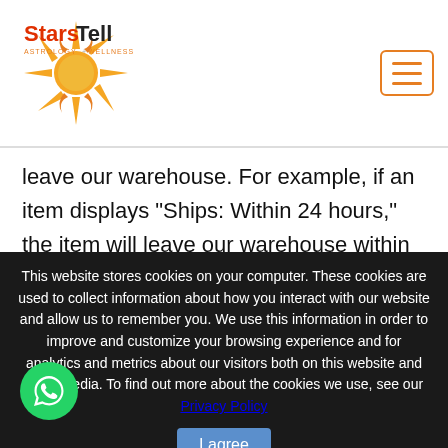StarsTell Astrology + Wellness
leave our warehouse. For example, if an item displays "Ships: Within 24 hours," the item will leave our warehouse within 24 hours after you place your order. While StarsTell works hard to ship every order as quickly as possible, personalized, custom-configured, and more popular items may have longer Ship times.
This website stores cookies on your computer. These cookies are used to collect information about how you interact with our website and allow us to remember you. We use this information in order to improve and customize your browsing experience and for analytics and metrics about our visitors both on this website and other media. To find out more about the cookies we use, see our Privacy Policy
I agree